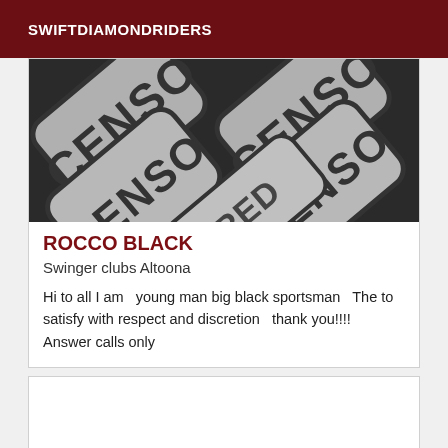SWIFTDIAMONDRIDERS
[Figure (photo): Close-up photo of censored signs with rounded rectangle stamp tiles showing the word CENSORED in bold stencil letters, arranged diagonally on a dark background.]
ROCCO BLACK
Swinger clubs Altoona
Hi to all I am   young man big black sportsman   The to satisfy with respect and discretion   thank you!!!!
Answer calls only